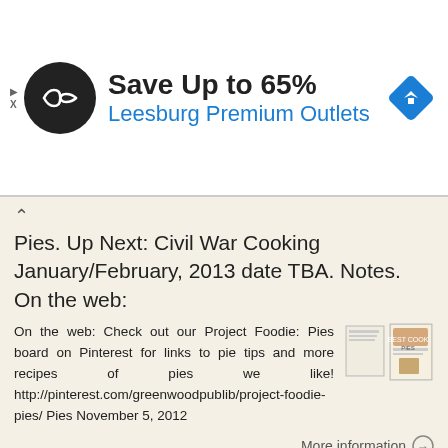[Figure (screenshot): Advertisement banner for Leesburg Premium Outlets showing a logo, 'Save Up to 65%' headline, and navigation icon]
Pies. Up Next: Civil War Cooking January/February, 2013 date TBA. Notes. On the web:
On the web: Check out our Project Foodie: Pies board on Pinterest for links to pie tips and more recipes of pies we like! http://pinterest.com/greenwoodpublib/project-foodie-pies/ Pies November 5, 2012
More information →
OCTOBER 2016 RECIPES. McNeil Nutritionals, LLC 2016
TM OCTOBER 2016 RECIPES McNeil